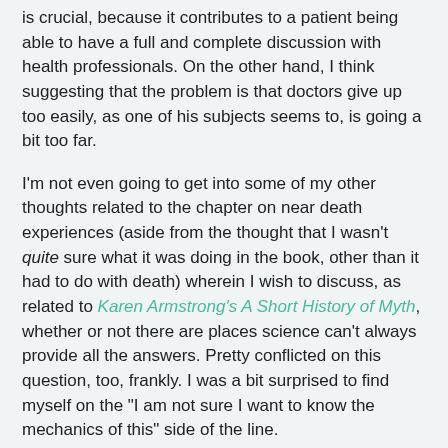is crucial, because it contributes to a patient being able to have a full and complete discussion with health professionals. On the other hand, I think suggesting that the problem is that doctors give up too easily, as one of his subjects seems to, is going a bit too far.
I'm not even going to get into some of my other thoughts related to the chapter on near death experiences (aside from the thought that I wasn't quite sure what it was doing in the book, other than it had to do with death) wherein I wish to discuss, as related to Karen Armstrong's A Short History of Myth, whether or not there are places science can't always provide all the answers. Pretty conflicted on this question, too, frankly. I was a bit surprised to find myself on the "I am not sure I want to know the mechanics of this" side of the line.
So if nothing else, this book gave me an awful lot to think about. The reading experience was easy and mostly pleasant, fascinating and a bit like brain candy for a science junkie like me. It's very clear to see why Sanjay Gupta is considered one of the best popularizers of medical science